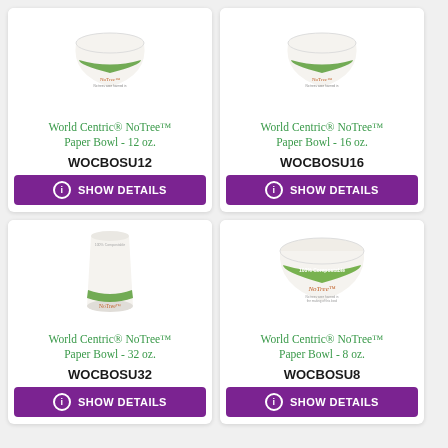[Figure (photo): World Centric NoTree Paper Bowl 12 oz product photo - white bowl with green and orange branding]
World Centric® NoTree™ Paper Bowl - 12 oz.
WOCBOSU12
SHOW DETAILS
[Figure (photo): World Centric NoTree Paper Bowl 16 oz product photo - white bowl with green and orange branding]
World Centric® NoTree™ Paper Bowl - 16 oz.
WOCBOSU16
SHOW DETAILS
[Figure (photo): World Centric NoTree Paper Cup 32 oz product photo - tall white cup with green band and NoTree logo]
World Centric® NoTree™ Paper Bowl - 32 oz.
WOCBOSU32
SHOW DETAILS
[Figure (photo): World Centric NoTree Paper Bowl 8 oz product photo - wide white bowl with green 100% Compostable band and NoTree logo]
World Centric® NoTree™ Paper Bowl - 8 oz.
WOCBOSU8
SHOW DETAILS